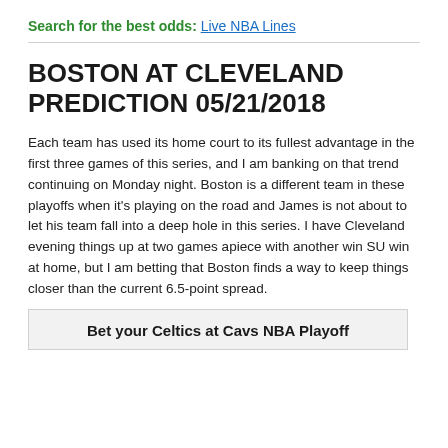Search for the best odds: Live NBA Lines
BOSTON AT CLEVELAND PREDICTION 05/21/2018
Each team has used its home court to its fullest advantage in the first three games of this series, and I am banking on that trend continuing on Monday night. Boston is a different team in these playoffs when it's playing on the road and James is not about to let his team fall into a deep hole in this series. I have Cleveland evening things up at two games apiece with another win SU win at home, but I am betting that Boston finds a way to keep things closer than the current 6.5-point spread.
Free Pick: Take Boston +6.5
Bet your Celtics at Cavs NBA Playoff